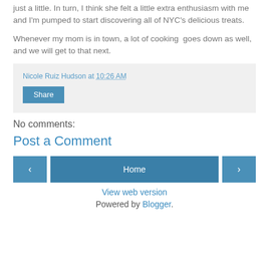just a little. In turn, I think she felt a little extra enthusiasm with me and I'm pumped to start discovering all of NYC's delicious treats.
Whenever my mom is in town, a lot of cooking  goes down as well, and we will get to that next.
Nicole Ruiz Hudson at 10:26 AM
Share
No comments:
Post a Comment
‹  Home  ›
View web version
Powered by Blogger.